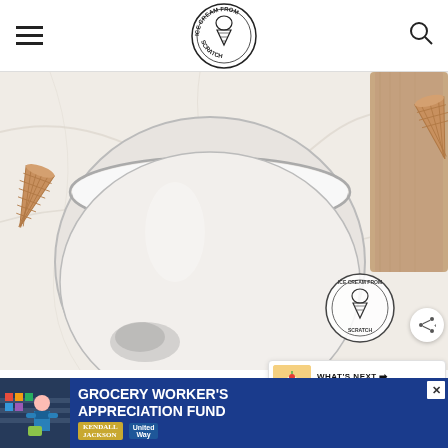Ice Cream From Scratch — navigation header with logo, hamburger menu, and search icon
[Figure (photo): Overhead view of a bowl of cream/milk on a marble surface with waffle cones and wooden board, logo watermark overlay, share button]
[Figure (infographic): What's Next promo: Banana Split thumbnail with arrow label]
INGREDIENTS IN H...RN
[Figure (infographic): Advertisement banner: Grocery Worker's Appreciation Fund with Kendall Jackson and United Way logos, photo of grocery worker]